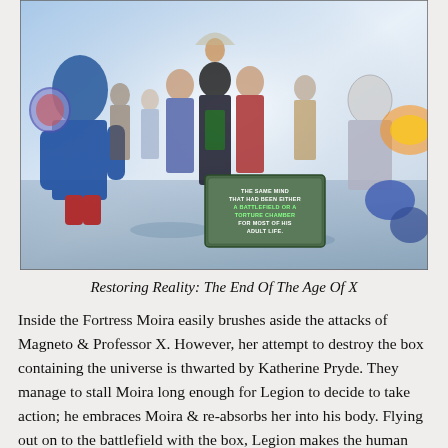[Figure (illustration): Comic book artwork showing a battle scene inside a fortress with many characters including superheroes. In the center, a speech bubble reads: 'THE SAME MIND THAT HAD BEEN EITHER A BATTLEFIELD OR A TORTURE CHAMBER FOR MOST OF HIS ADULT LIFE.' Characters are shown in dynamic poses, blue-toned artwork with dramatic lighting.]
Restoring Reality: The End Of The Age Of X
Inside the Fortress Moira easily brushes aside the attacks of Magneto & Professor X. However, her attempt to destroy the box containing the universe is thwarted by Katherine Pryde. They manage to stall Moira long enough for Legion to decide to take action; he embraces Moira & re-absorbs her into his body. Flying out on to the battlefield with the box, Legion makes the human forces disappear in